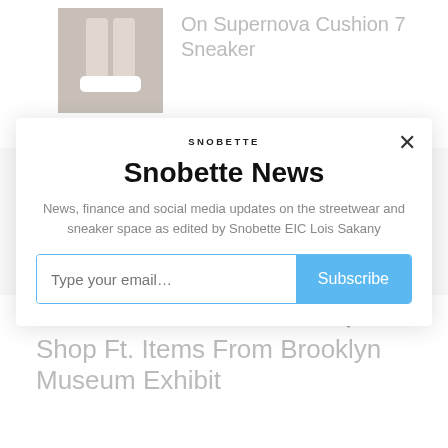[Figure (photo): Thumbnail image of person wearing sneakers, showing legs from waist down]
On Supernova Cushion 7 Sneaker
[Figure (screenshot): Snobette newsletter subscription modal popup with email input and Subscribe button]
SNOBETTE
Snobette News
News, finance and social media updates on the streetwear and sneaker space as edited by Snobette EIC Lois Sakany
Type your email…
Subscribe
⊳substack
Shop Ft. Items From Brooklyn Museum Exhibit